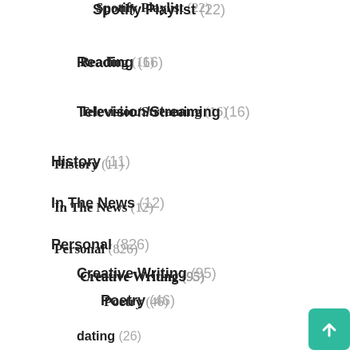Spotify Playlist (22)
Reading (16)
Television/Streaming (16)
History (11)
In The News (12)
Personal (826)
Creative Writing (95)
Poetry (46)
dating (26)
Guest Writer (15)
Medical (73)